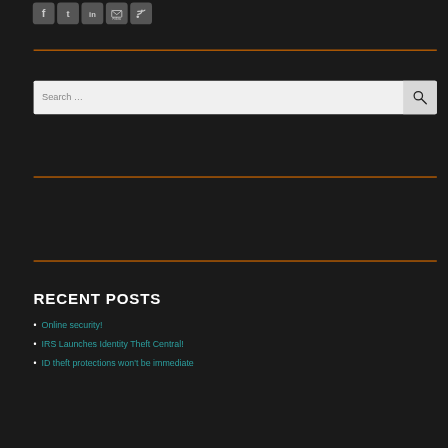[Figure (other): Row of social media icon buttons: Facebook, Twitter, LinkedIn, Email/Follow, RSS feed - all grey rounded square icons]
[Figure (other): Search input box with placeholder text 'Search ...' and a search/magnifying glass button on the right]
RECENT POSTS
Online security!
IRS Launches Identity Theft Central!
ID theft protections won't be immediate